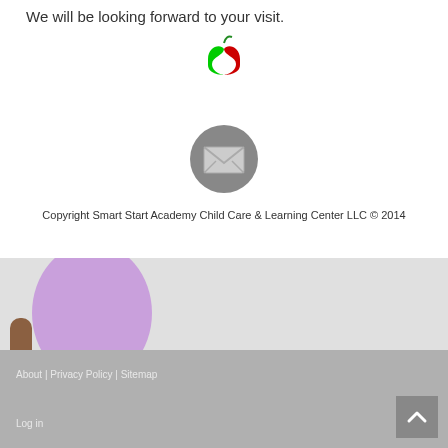We will be looking forward to your visit.
[Figure (logo): Smart Start Academy logo: stylized green and red S intertwined forming an apple shape]
[Figure (illustration): Gray circular email/envelope icon]
Copyright Smart Start Academy Child Care & Learning Center LLC © 2014
[Figure (photo): Lower body of a young child wearing a lavender dress with ruffle hem, walking barefoot against a light gray background]
About | Privacy Policy | Sitemap
Log in